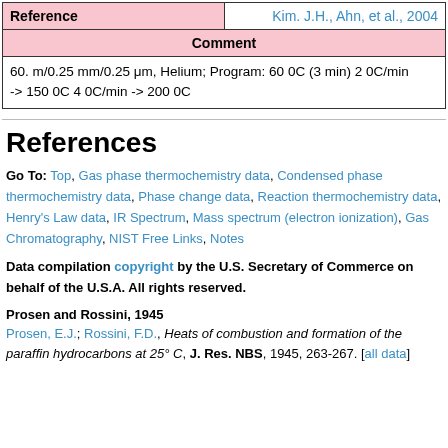| Reference | Kim. J.H., Ahn, et al., 2004 |
| --- | --- |
| Comment |  |
| 60. m/0.25 mm/0.25 μm, Helium; Program: 60 0C (3 min) 2 0C/min -> 150 0C 4 0C/min -> 200 0C |  |
References
Go To: Top, Gas phase thermochemistry data, Condensed phase thermochemistry data, Phase change data, Reaction thermochemistry data, Henry's Law data, IR Spectrum, Mass spectrum (electron ionization), Gas Chromatography, NIST Free Links, Notes
Data compilation copyright by the U.S. Secretary of Commerce on behalf of the U.S.A. All rights reserved.
Prosen and Rossini, 1945
Prosen, E.J.; Rossini, F.D., Heats of combustion and formation of the paraffin hydrocarbons at 25° C, J. Res. NBS, 1945, 263-267. [all data]